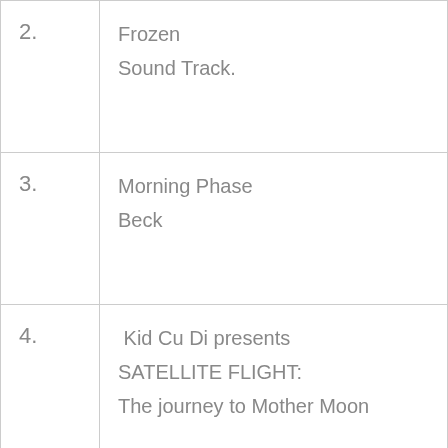| 2. | Frozen
Sound Track. |
| 3. | Morning Phase
Beck |
| 4. | Kid Cu Di presents
SATELLITE FLIGHT:
The journey to Mother Moon |